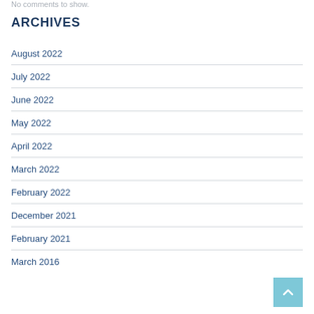No comments to show.
ARCHIVES
August 2022
July 2022
June 2022
May 2022
April 2022
March 2022
February 2022
December 2021
February 2021
March 2016